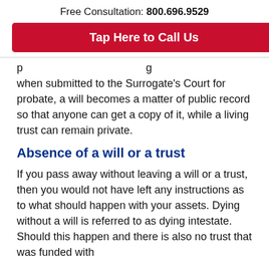Free Consultation: 800.696.9529
Tap Here to Call Us
when submitted to the Surrogate's Court for probate, a will becomes a matter of public record so that anyone can get a copy of it, while a living trust can remain private.
Absence of a will or a trust
If you pass away without leaving a will or a trust, then you would not have left any instructions as to what should happen with your assets. Dying without a will is referred to as dying intestate. Should this happen and there is also no trust that was funded with